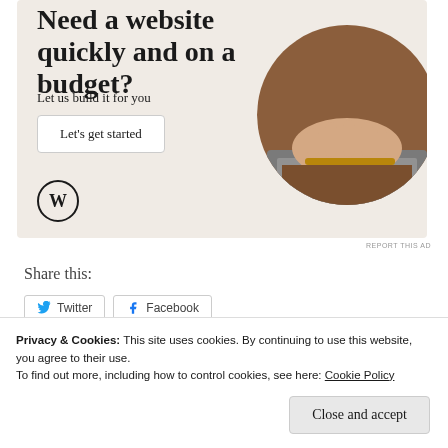[Figure (infographic): WordPress advertisement banner with beige/tan background showing text 'Need a website quickly and on a budget?', subtitle 'Let us build it for you', a white 'Let's get started' button, WordPress logo (W in circle), and a circular photo of hands typing on a laptop wearing a brown sweater and bracelet.]
REPORT THIS AD
Share this:
[Figure (screenshot): Social share buttons: Twitter and Facebook buttons partially visible]
Privacy & Cookies: This site uses cookies. By continuing to use this website, you agree to their use.
To find out more, including how to control cookies, see here: Cookie Policy
Close and accept